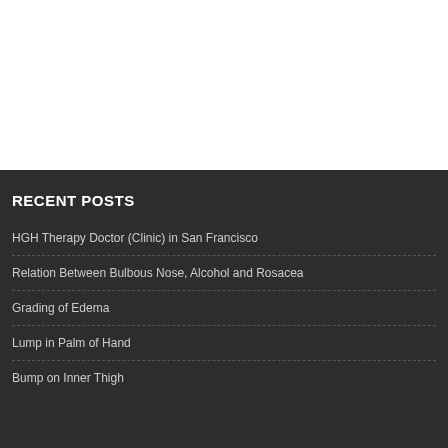RECENT POSTS
HGH Therapy Doctor (Clinic) in San Francisco
Relation Between Bulbous Nose, Alcohol and Rosacea
Grading of Edema
Lump in Palm of Hand
Bump on Inner Thigh